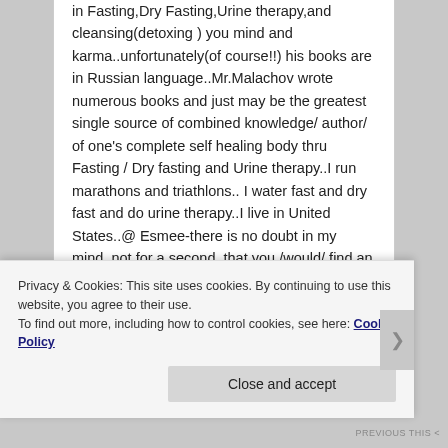in Fasting,Dry Fasting,Urine therapy,and cleansing(detoxing ) you mind and karma..unfortunately(of course!!) his books are in Russian language..Mr.Malachov wrote numerous books and just may be the greatest single source of combined knowledge/ author/ of one's complete self healing body thru Fasting / Dry fasting and Urine therapy..I run marathons and triathlons.. I water fast and dry fast and do urine therapy..I live in United States..@ Esmee-there is no doubt in my mind, not for a second, that you /would/ find an answer how to rid yourself of your plant based food allergies or get to the point you
Privacy & Cookies: This site uses cookies. By continuing to use this website, you agree to their use. To find out more, including how to control cookies, see here: Cookie Policy
Close and accept